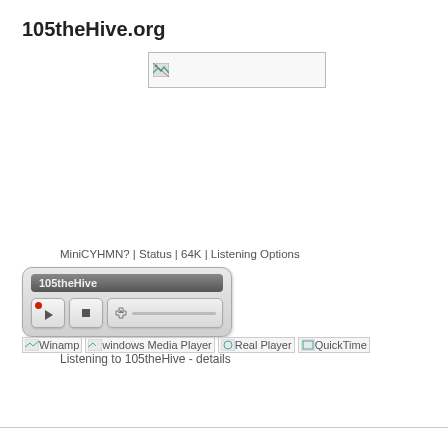105theHive.org
[Figure (screenshot): Broken image placeholder banner with small broken image icon and empty white bar, bordered box]
MiniCYHMN? | Status | 64K | Listening Options
[Figure (screenshot): Embedded audio player widget showing '105theHive' in dark title bar with play button, stop button, and volume slider on grey rounded rectangle background]
[Winamp][windows Media Player][Real Player][QuickTime]
Listening to 105theHive - details